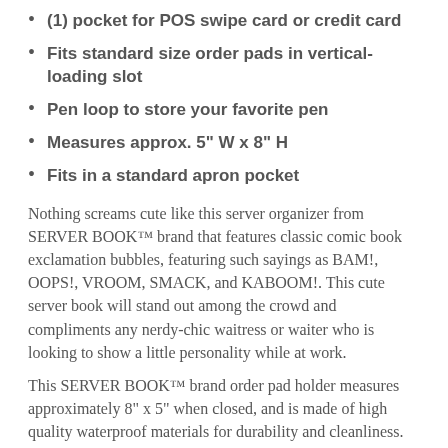(1) pocket for POS swipe card or credit card
Fits standard size order pads in vertical-loading slot
Pen loop to store your favorite pen
Measures approx. 5" W x 8" H
Fits in a standard apron pocket
Nothing screams cute like this server organizer from SERVER BOOK™ brand that features classic comic book exclamation bubbles, featuring such sayings as BAM!, OOPS!, VROOM, SMACK, and KABOOM!. This cute server book will stand out among the crowd and compliments any nerdy-chic waitress or waiter who is looking to show a little personality while at work.
This SERVER BOOK™ brand order pad holder measures approximately 8" x 5" when closed, and is made of high quality waterproof materials for durability and cleanliness. No sticky messes here!